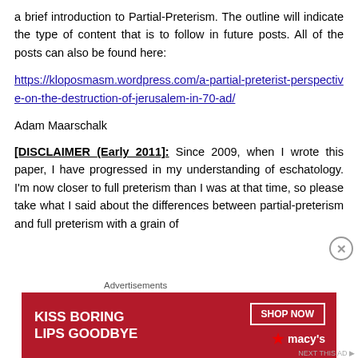a brief introduction to Partial-Preterism. The outline will indicate the type of content that is to follow in future posts. All of the posts can also be found here:
https://kloposmasm.wordpress.com/a-partial-preterist-perspective-on-the-destruction-of-jerusalem-in-70-ad/
Adam Maarschalk
[DISCLAIMER (Early 2011): Since 2009, when I wrote this paper, I have progressed in my understanding of eschatology. I'm now closer to full preterism than I was at that time, so please take what I said about the differences between partial-preterism and full preterism with a grain of
[Figure (other): Advertisement banner: 'KISS BORING LIPS GOODBYE' with SHOP NOW button and Macy's logo on red background]